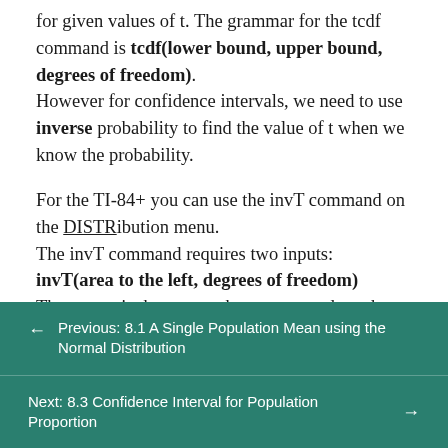for given values of t. The grammar for the tcdf command is tcdf(lower bound, upper bound, degrees of freedom). However for confidence intervals, we need to use inverse probability to find the value of t when we know the probability.

For the TI-84+ you can use the invT command on the DISTRibution menu.
The invT command requires two inputs:
invT(area to the left, degrees of freedom)
The output is the t-score that corresponds to the area we specified.
← Previous: 8.1 A Single Population Mean using the Normal Distribution
Next: 8.3 Confidence Interval for Population Proportion →